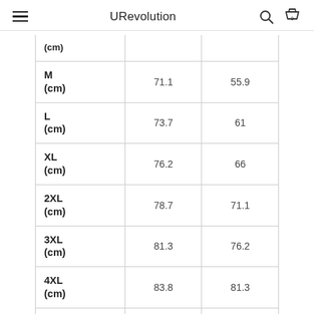URevolution
| Size |  |  |
| --- | --- | --- |
| (cm) |  |  |
| M (cm) | 71.1 | 55.9 |
| L (cm) | 73.7 | 61 |
| XL (cm) | 76.2 | 66 |
| 2XL (cm) | 78.7 | 71.1 |
| 3XL (cm) | 81.3 | 76.2 |
| 4XL (cm) | 83.8 | 81.3 |
| 5XL (cm) | 86.4 | 86.4 |